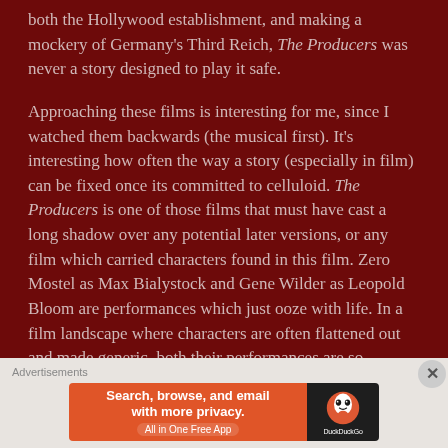both the Hollywood establishment, and making a mockery of Germany's Third Reich, The Producers was never a story designed to play it safe.
Approaching these films is interesting for me, since I watched them backwards (the musical first). It's interesting how often the way a story (especially in film) can be fixed once its committed to celluloid. The Producers is one of those films that must have cast a long shadow over any potential later versions, or any film which carried characters found in this film. Zero Mostel as Max Bialystock and Gene Wilder as Leopold Bloom are performances which just ooze with life. In a film landscape where characters are often flattened out and made generic, both their performances are so profoundly idiosyncratic and deep that regardless of the rest of the film, it would still be worth visiting.
Advertisements
[Figure (infographic): DuckDuckGo advertisement banner: orange left panel with text 'Search, browse, and email with more privacy. All in One Free App', dark right panel with DuckDuckGo logo and name.]